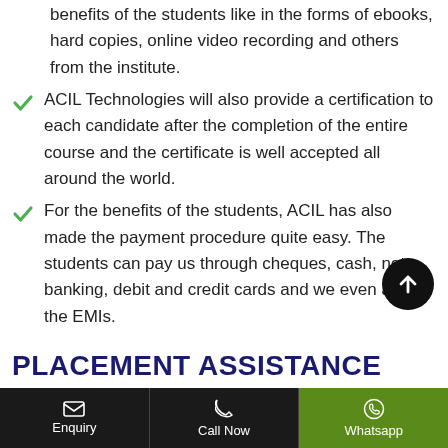benefits of the students like in the forms of ebooks, hard copies, online video recording and others from the institute.
ACIL Technologies will also provide a certification to each candidate after the completion of the entire course and the certificate is well accepted all around the world.
For the benefits of the students, ACIL has also made the payment procedure quite easy. The students can pay us through cheques, cash, net banking, debit and credit cards and we even accept the EMIs.
PLACEMENT ASSISTANCE FROM THE ACIL
Apart from providing the best training in ...
Enquiry  Call Now  Whatsapp